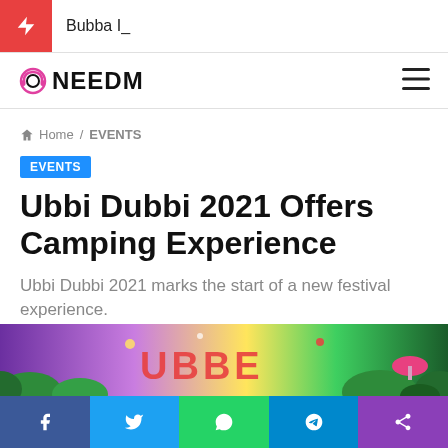Bubba I_
[Figure (logo): OneEDM logo with headphones icon]
Home / EVENTS
EVENTS
Ubbi Dubbi 2021 Offers Camping Experience
Ubbi Dubbi 2021 marks the start of a new festival experience.
Jillian Nguyen · November 11, 2020 · Less than a minute
[Figure (photo): Festival scene with colorful decorations and UBBI letters visible]
Facebook Twitter WhatsApp Telegram Share